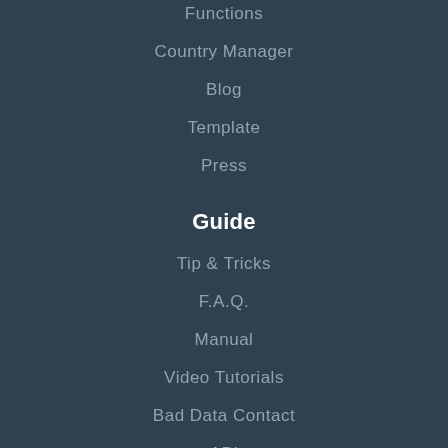Functions
Country Manager
Blog
Template
Press
Guide
Tip & Tricks
F.A.Q.
Manual
Video Tutorials
Bad Data Contact
API
Support